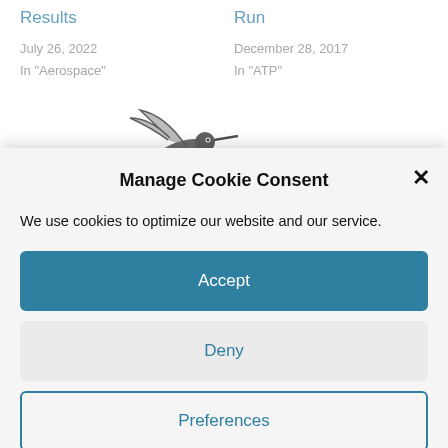Results
July 26, 2022
In "Aerospace"
Run
December 28, 2017
In "ATP"
[Figure (photo): Black and white photo of a bird (hummingbird or similar) in flight]
Manage Cookie Consent
We use cookies to optimize our website and our service.
Accept
Deny
Preferences
Cookie Policy  Privacy Policy